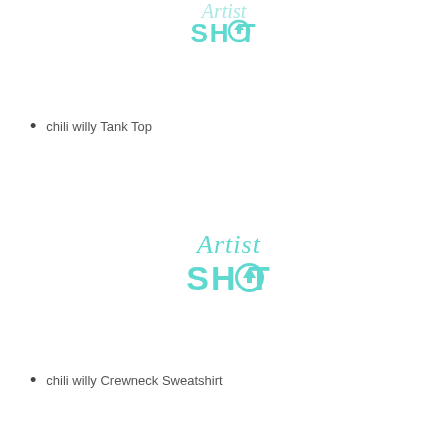[Figure (logo): ArtistShot logo (partial, top cropped) with teal text 'Artist' in script and 'SHOT' in bold with upload arrow icon]
chili willy Tank Top
[Figure (logo): ArtistShot logo with teal cursive 'Artist' text above bold 'SHOT' with circular upload arrow icon]
chili willy Crewneck Sweatshirt